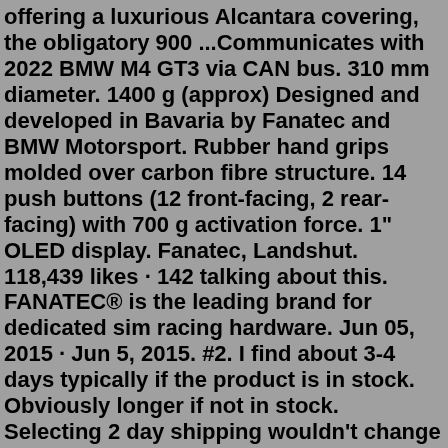offering a luxurious Alcantara covering, the obligatory 900 ...Communicates with 2022 BMW M4 GT3 via CAN bus. 310 mm diameter. 1400 g (approx) Designed and developed in Bavaria by Fanatec and BMW Motorsport. Rubber hand grips molded over carbon fibre structure. 14 push buttons (12 front-facing, 2 rear-facing) with 700 g activation force. 1" OLED display. Fanatec, Landshut. 118,439 likes · 142 talking about this. FANATEC® is the leading brand for dedicated sim racing hardware. Jun 05, 2015 · Jun 5, 2015. #2. I find about 3-4 days typically if the product is in stock. Obviously longer if not in stock. Selecting 2 day shipping wouldn't change how quickly they process your order and ship it, it would only affect the time it takes for the carrier to deliver it to you once the product has shipped from the Fanatec warehouse. This Fanatec pack includes the ClubSport Steering Wheel Formula 1 Esports rim, the CSL Elite Wheel Base+, and the CSL Elite Pedals. The bundle is compatible with the PC and all PlayStation4 and PlayStation Pro systems. The Fanatec CSL Elite F1